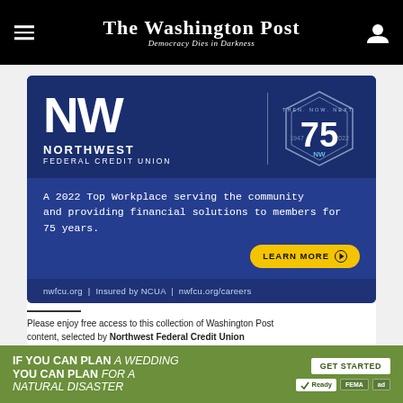The Washington Post — Democracy Dies in Darkness
[Figure (illustration): Northwest Federal Credit Union advertisement. Dark blue background with large white NW logo letters, company name 'NORTHWEST FEDERAL CREDIT UNION', a geometric hexagonal 75th anniversary badge showing '75' with years 1947 and 2022. Middle section reads 'A 2022 Top Workplace serving the community and providing financial solutions to members for 75 years.' with a yellow LEARN MORE button. Footer shows 'nwfcu.org | Insured by NCUA | nwfcu.org/careers']
Please enjoy free access to this collection of Washington Post content, selected by Northwest Federal Credit Union
[Figure (illustration): Green advertisement banner: 'IF YOU CAN PLAN A WEDDING YOU CAN PLAN FOR A NATURAL DISASTER' with GET STARTED button and Ready, FEMA, and ad logos]